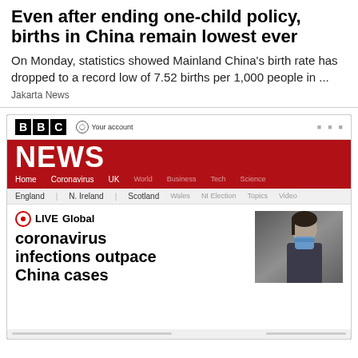Even after ending one-child policy, births in China remain lowest ever
On Monday, statistics showed Mainland China's birth rate has dropped to a record low of 7.52 births per 1,000 people in ...
Jakarta News
[Figure (screenshot): Screenshot of BBC News website showing the BBC logo, navigation bar with Home, Coronavirus, UK, and other links, a sub-navigation with England, N. Ireland, Scotland, and other links, and a LIVE headline reading 'LIVE Global coronavirus infections outpace China cases' with a thumbnail image of a person wearing a blue face mask.]